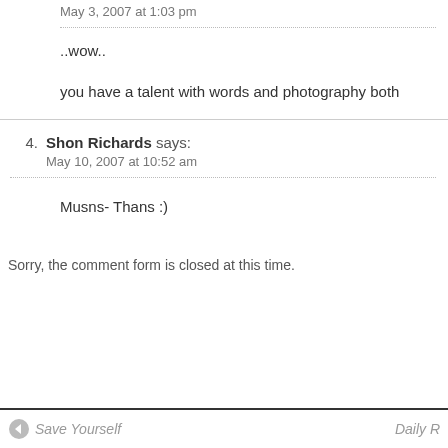May 3, 2007 at 1:03 pm
..wow..
you have a talent with words and photography both
4. Shon Richards says:
May 10, 2007 at 10:52 am
Musns- Thans :)
Sorry, the comment form is closed at this time.
Save Yourself   Daily R...